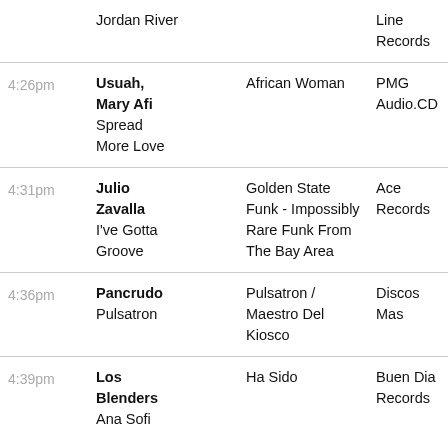| Time | Artist / Song | Album | Label |
| --- | --- | --- | --- |
|  | Jordan River |  | Line Records |
| 4:26pm | Usuah, Mary Afi
Spread More Love | African Woman | PMG Audio.CD |
| 4:31pm | Julio Zavalla
I've Gotta Groove | Golden State Funk - Impossibly Rare Funk From The Bay Area | Ace Records |
| 4:36pm | Pancrudo
Pulsatron | Pulsatron / Maestro Del Kiosco | Discos Mas |
| 4:39pm | Los Blenders
Ana Sofi | Ha Sido | Buen Dia Records |